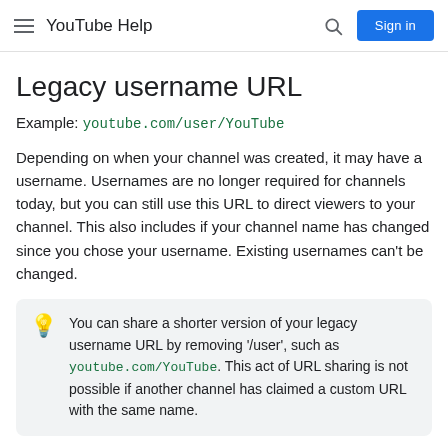YouTube Help — Sign in
Legacy username URL
Example: youtube.com/user/YouTube
Depending on when your channel was created, it may have a username. Usernames are no longer required for channels today, but you can still use this URL to direct viewers to your channel. This also includes if your channel name has changed since you chose your username. Existing usernames can't be changed.
You can share a shorter version of your legacy username URL by removing '/user', such as youtube.com/YouTube. This act of URL sharing is not possible if another channel has claimed a custom URL with the same name.